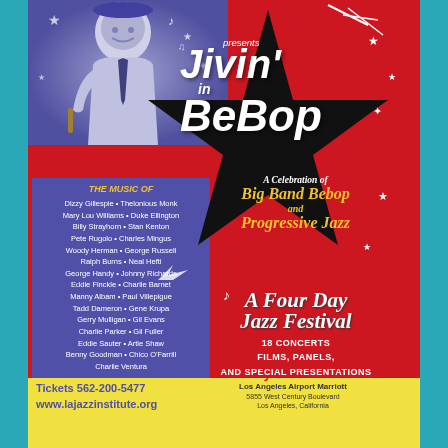[Figure (illustration): Event poster for 'Jivin' in BeBop' jazz festival featuring a vintage illustration of a jazz musician in blue/purple tones against a red background with a black star shape]
Jivin' in BeBop
presents
A Celebration of Big Band Bebop and Progressive Jazz
THE MUSIC OF
Dizzy Gillespie • Thelonious Monk
Mary Lou Williams • Duke Ellington
Billy Strayhorn • Stan Kenton
Pete Rugolo • Charles Mingus
Woody Herman • George Russell
Ralph Burns • Neal Hefti
George Handy • Johnny Richards
Eddie Finckle • Charlie Barnet
Manny Albam • Paul Villepigue
Tadd Dameron • Gene Krupa
Gerry Mulligan • Gil Evans
Charlie Parker • Gil Fuller
Eddie Sauter • Artie Shaw
Benny Goodman • Chico O'Farrill
Charlie Ventura
A Four Day Jazz Festival
18 Concerts
Films, Panels,
And Special Presentations
Tickets 562-200-5477
www.lajazzinstitute.org
May 24-27 2012
Los Angeles Airport Marriott
5855 West Century Boulevard
Los Angeles, California